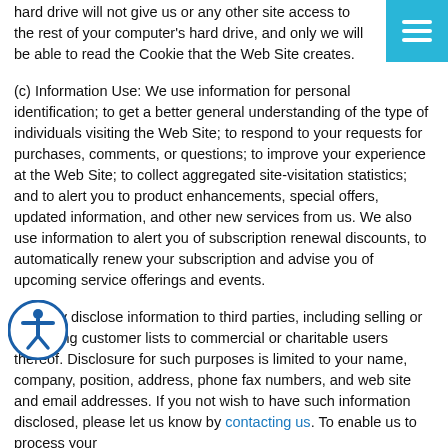hard drive will not give us or any other site access to the rest of your computer's hard drive, and only we will be able to read the Cookie that the Web Site creates.
(c) Information Use: We use information for personal identification; to get a better general understanding of the type of individuals visiting the Web Site; to respond to your requests for purchases, comments, or questions; to improve your experience at the Web Site; to collect aggregated site-visitation statistics; and to alert you to product enhancements, special offers, updated information, and other new services from us. We also use information to alert you of subscription renewal discounts, to automatically renew your subscription and advise you of upcoming service offerings and events.
We may disclose information to third parties, including selling or disclosing customer lists to commercial or charitable users thereof. Disclosure for such purposes is limited to your name, company, position, address, phone fax numbers, and web site and email addresses. If you not wish to have such information disclosed, please let us know by contacting us. To enable us to process your